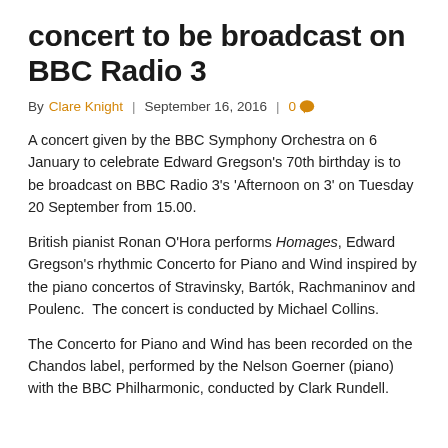concert to be broadcast on BBC Radio 3
By Clare Knight | September 16, 2016 | 0
A concert given by the BBC Symphony Orchestra on 6 January to celebrate Edward Gregson's 70th birthday is to be broadcast on BBC Radio 3's 'Afternoon on 3' on Tuesday 20 September from 15.00.
British pianist Ronan O'Hora performs Homages, Edward Gregson's rhythmic Concerto for Piano and Wind inspired by the piano concertos of Stravinsky, Bartók, Rachmaninov and Poulenc.  The concert is conducted by Michael Collins.
The Concerto for Piano and Wind has been recorded on the Chandos label, performed by the Nelson Goerner (piano) with the BBC Philharmonic, conducted by Clark Rundell.